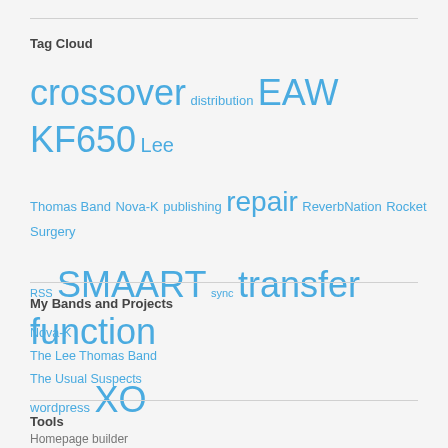Tag Cloud
[Figure (infographic): Tag cloud with various terms in different sizes. Largest tags: crossover, EAW KF650, SMAART, transfer function, XO. Medium tags: Lee, repair. Small tags: distribution, Thomas Band, Nova-K, publishing, ReverbNation, Rocket Surgery, RSS, sync, wordpress.]
My Bands and Projects
Nova-K
The Lee Thomas Band
The Usual Suspects
Tools
Homepage builder